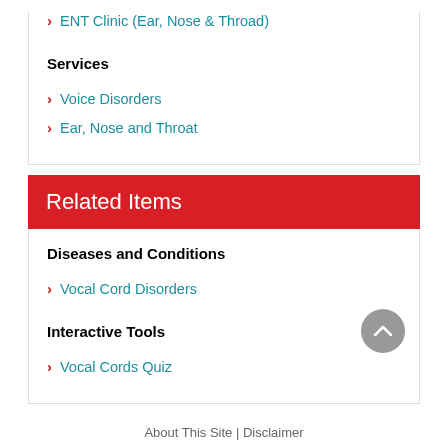ENT Clinic (Ear, Nose & Throad)
Services
Voice Disorders
Ear, Nose and Throat
Related Items
Diseases and Conditions
Vocal Cord Disorders
Interactive Tools
Vocal Cords Quiz
About This Site | Disclaimer